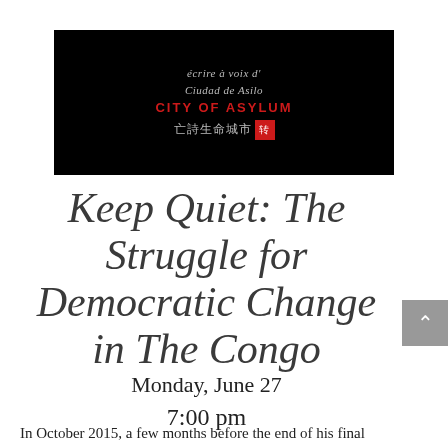[Figure (logo): City of Asylum logo — black background with multilingual text in script, 'CITY of ASYLUM' in red, Chinese characters, and a red seal stamp]
Keep Quiet: The Struggle for Democratic Change in The Congo
Monday, June 27
7:00 pm
In October 2015, a few months before the end of his final constitutional term, General